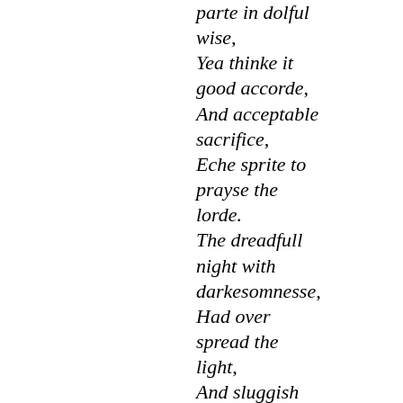parte in dolful wise, Yea thinke it good accorde, And acceptable sacrifice, Eche sprite to prayse the lorde. The dreadfull night with darkesomnesse, Had over spread the light, And sluggish sleepe with drowsynesse, Had over prest our might: A glasse wherin you may beholde, Eche storme that stopes our